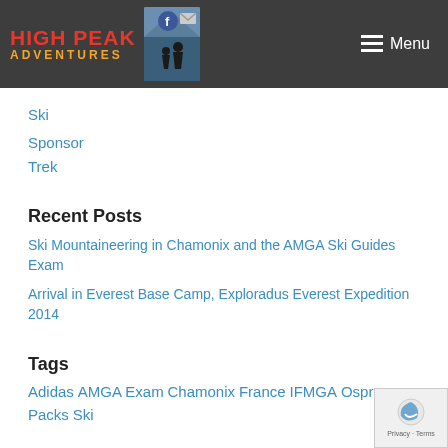HIGH PEAK ADVENTURES — Menu
Ski
Sponsor
Trek
Recent Posts
Ski Mountaineering in Chamonix and the AMGA Ski Guides Exam
Arrival in Everest Base Camp, Exploradus Everest Expedition 2014
Tags
Adidas AMGA Exam Chamonix France IFMGA Osprey Packs Ski